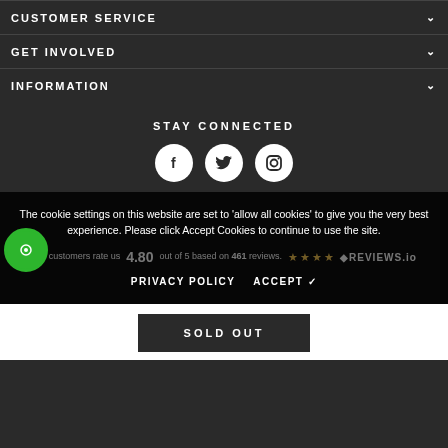CUSTOMER SERVICE
GET INVOLVED
INFORMATION
STAY CONNECTED
[Figure (illustration): Three white circular social media icons: Facebook (f), Twitter (bird), Instagram (camera)]
The cookie settings on this website are set to 'allow all cookies' to give you the very best experience. Please click Accept Cookies to continue to use the site.
Our customers rate us 4.80 out of 5 based on 461 reviews. REVIEWS.io
PRIVACY POLICY   ACCEPT ✓
SOLD OUT